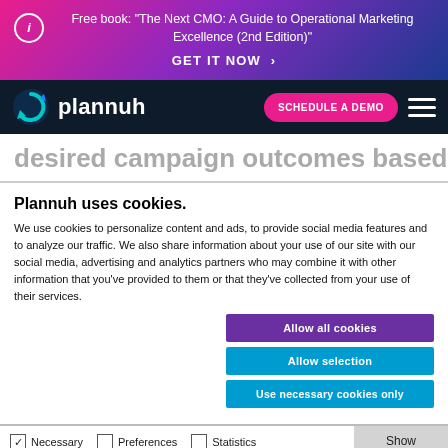Free book: "The Next CMO: A Guide to Operational Marketing Excellence (2nd Edition)" GET IT NOW >
[Figure (logo): Plannuh logo with teal circular arrow icon and white text on dark background, alongside SCHEDULE A DEMO pink button and hamburger menu]
desired campaign outcomes based on
Plannuh uses cookies.
We use cookies to personalize content and ads, to provide social media features and to analyze our traffic. We also share information about your use of our site with our social media, advertising and analytics partners who may combine it with other information that you've provided to them or that they've collected from your use of their services.
Allow all cookies
Allow selection
Use necessary cookies only
Necessary  Preferences  Statistics  Marketing  Show details